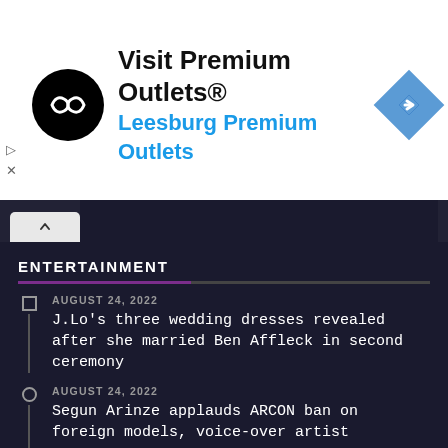[Figure (screenshot): Advertisement banner for Premium Outlets with logo, text 'Visit Premium Outlets® Leesburg Premium Outlets', and navigation icon]
ENTERTAINMENT
AUGUST 24, 2022
J.Lo's three wedding dresses revealed after she married Ben Affleck in second ceremony
AUGUST 24, 2022
Segun Arinze applauds ARCON ban on foreign models, voice-over artist
AUGUST 24, 2022
Kidney transplant: Eedris Abdulkareem appreciates wife